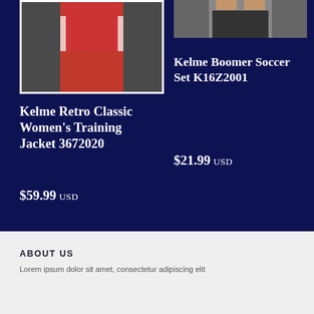[Figure (photo): Woman wearing red Kelme training jacket and pants, left product photo with white border]
[Figure (photo): Person wearing Kelme Boomer Soccer Set shorts, right product photo cropped at torso]
Kelme Retro Classic Women’s Training Jacket 3672020
$59.99 USD
Kelme Boomer Soccer Set K16Z2001
$21.99 USD
ABOUT US
Lorem ipsum dolor sit amet, consectetur adipiscing elit